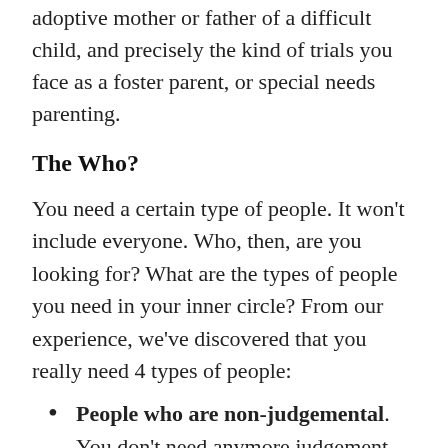adoptive mother or father of a difficult child, and precisely the kind of trials you face as a foster parent, or special needs parenting.
The Who?
You need a certain type of people. It won't include everyone. Who, then, are you looking for? What are the types of people you need in your inner circle? From our experience, we've discovered that you really need 4 types of people:
People who are non-judgemental. You don't need anymore judgement than